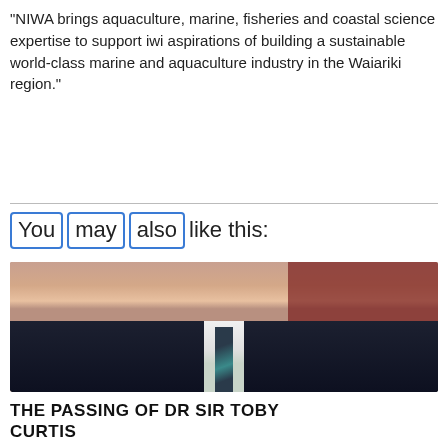“NIWA brings aquaculture, marine, fisheries and coastal science expertise to support iwi aspirations of building a sustainable world-class marine and aquaculture industry in the Waiariki region.”
You may also like this:
[Figure (photo): Close-up portrait photo of an older smiling man in a dark suit with a striped tie, with a reddish-brown wooden background visible on the right]
THE PASSING OF DR SIR TOBY CURTIS
August 17, 2022